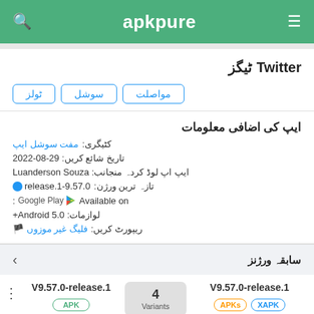apkpure
Twitter ٹیگز
ٹولز
سوشل
مواصلت
ایپ کی اضافی معلومات
کٹیگری: مفت سوشل ایپ
تاریخ شائع کریں: 29-08-2022
ایپ اپ لوڈ کردہ منجانب: Luanderson Souza
تازہ ترین ورژن: release.1-9.57.0
Available on : Google Play
لوازمات: Android 5.0+
ریپورٹ کریں: فلیگ غیر موزوں 🏴
سابقہ ورژنز
V9.57.0-release.1
4 Variants
V9.57.0-release.1